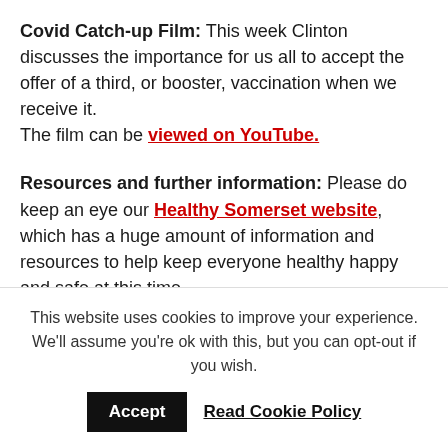Covid Catch-up Film: This week Clinton discusses the importance for us all to accept the offer of a third, or booster, vaccination when we receive it. The film can be viewed on YouTube.
Resources and further information: Please do keep an eye our Healthy Somerset website, which has a huge amount of information and resources to help keep everyone healthy happy and safe at this time.
For the latest local information as well as digital resources, posters and flyers please visit the Somerset County Council website
This website uses cookies to improve your experience. We'll assume you're ok with this, but you can opt-out if you wish.
Accept   Read Cookie Policy